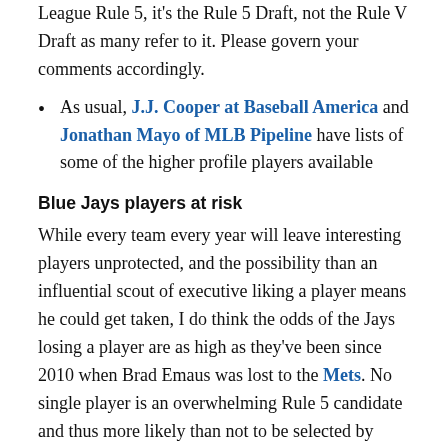League Rule 5, it's the Rule 5 Draft, not the Rule V Draft as many refer to it. Please govern your comments accordingly.
As usual, J.J. Cooper at Baseball America and Jonathan Mayo of MLB Pipeline have lists of some of the higher profile players available
Blue Jays players at risk
While every team every year will leave interesting players unprotected, and the possibility than an influential scout of executive liking a player means he could get taken, I do think the odds of the Jays losing a player are as high as they've been since 2010 when Brad Emaus was lost to the Mets. No single player is an overwhelming Rule 5 candidate and thus more likely than not to be selected by another team, but the sheer number of plausible candidates is what leads me